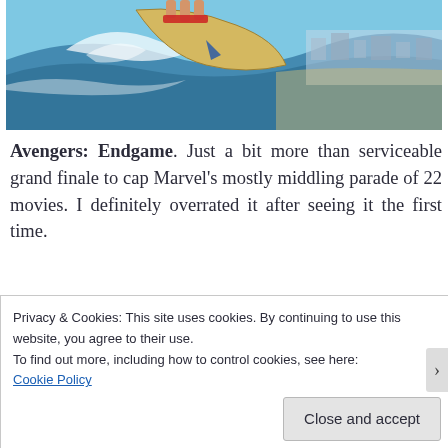[Figure (photo): Close-up action photo of a surfboard riding a wave near a beach with buildings visible in the background under a blue sky.]
Avengers: Endgame. Just a bit more than serviceable grand finale to cap Marvel's mostly middling parade of 22 movies. I definitely overrated it after seeing it the first time.
Privacy & Cookies: This site uses cookies. By continuing to use this website, you agree to their use.
To find out more, including how to control cookies, see here:
Cookie Policy

Close and accept